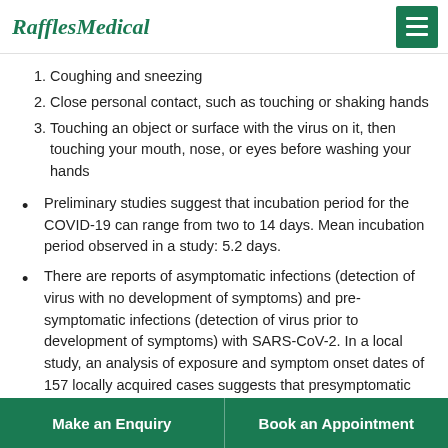RafflesMedical
Coughing and sneezing
Close personal contact, such as touching or shaking hands
Touching an object or surface with the virus on it, then touching your mouth, nose, or eyes before washing your hands
Preliminary studies suggest that incubation period for the COVID-19 can range from two to 14 days. Mean incubation period observed in a study: 5.2 days.
There are reports of asymptomatic infections (detection of virus with no development of symptoms) and pre-symptomatic infections (detection of virus prior to development of symptoms) with SARS-CoV-2.  In a local study, an analysis of exposure and symptom onset dates of 157 locally acquired cases suggests that presymptomatic transmission of COVID-19 occurred in 10 (6.4%) of such cases. The data also suggests that transmission likely
Make an Enquiry    Book an Appointment